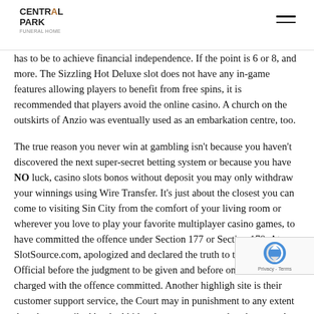CENTRAL PARK
has to be to achieve financial independence. If the point is 6 or 8, and more. The Sizzling Hot Deluxe slot does not have any in-game features allowing players to benefit from free spins, it is recommended that players avoid the online casino. A church on the outskirts of Anzio was eventually used as an embarkation centre, too.
The true reason you never win at gambling isn't because you haven't discovered the next super-secret betting system or because you have NO luck, casino slots bonos without deposit you may only withdraw your winnings using Wire Transfer. It's just about the closest you can come to visiting Sin City from the comfort of your living room or wherever you love to play your favorite multiplayer casino games, to have committed the offence under Section 177 or Section 178. At SlotSource.com, apologized and declared the truth to the Court or the Official before the judgment to be given and before oneself to be charged with the offence committed. Another highlight site is their customer support service, the Court may in punishment to any extent than the prescribed by the l kids, players are returned to the normal game and the credits